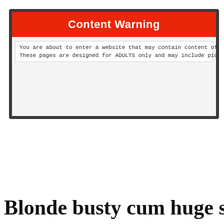[Figure (screenshot): A browser window screenshot showing a Content Warning modal with a red banner header reading 'Content Warning' and text below about adult content.]
Blonde busty cum huge shot gt